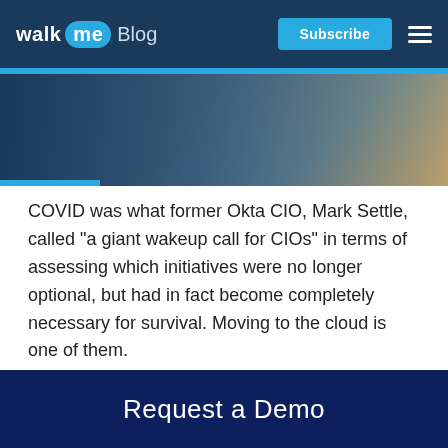walk me Blog | Subscribe
[Figure (photo): Background photo of a person working, partially visible, with dark blue overlay. A blue accent bar appears below the navigation header.]
COVID was what former Okta CIO, Mark Settle, called “a giant wakeup call for CIOs” in terms of assessing which initiatives were no longer optional, but had in fact become completely necessary for survival. Moving to the cloud is one of them.
Here’s why:
Reliability is #1
Request a Demo